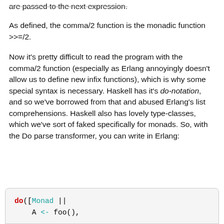are passed to the next expression.
As defined, the comma/2 function is the monadic function >>=/2.
Now it's pretty difficult to read the program with the comma/2 function (especially as Erlang annoyingly doesn't allow us to define new infix functions), which is why some special syntax is necessary. Haskell has it's do-notation, and so we've borrowed from that and abused Erlang's list comprehensions. Haskell also has lovely type-classes, which we've sort of faked specifically for monads. So, with the Do parse transformer, you can write in Erlang:
do([Monad ||
    A <- foo(),